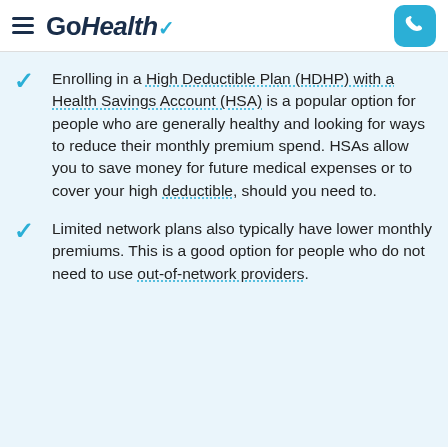GoHealth
Enrolling in a High Deductible Plan (HDHP) with a Health Savings Account (HSA) is a popular option for people who are generally healthy and looking for ways to reduce their monthly premium spend. HSAs allow you to save money for future medical expenses or to cover your high deductible, should you need to.
Limited network plans also typically have lower monthly premiums. This is a good option for people who do not need to use out-of-network providers.